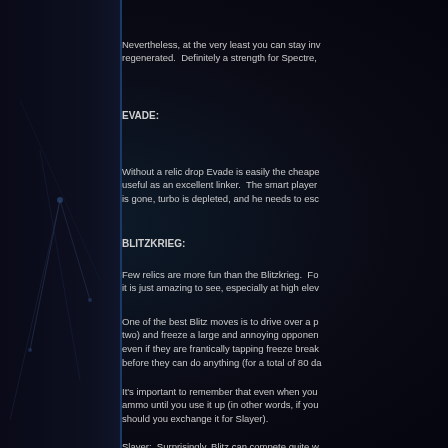Nevertheless, at the very least you can stay inv regenerated. Definitely a strength for Spectre,
EVADE:
Without a relic drop Evade is easily the cheape useful as an excellent linker. The smart player is gone, turbo is depleted, and he needs to esc
BLITZKRIEG:
Few relics are more fun than the Blitzkrieg. Fo it is just amazing to see, especially at high elev
One of the best Blitz moves is to drive over a p two) and freeze a large and annoying opponen even if they are frantically tapping freeze break before they can do anything (for a total of 80 da
It's important to remember that even when you ammo until you use it up (in other words, if you should you exchange it for Slayer).
Slayer: Surprisingly, Blitz can compete quite w loaded inventory. Firing four homing missiles i one is actually more devastating (40 points vs.
Mega Guns: A Mega Gun player caught in a s